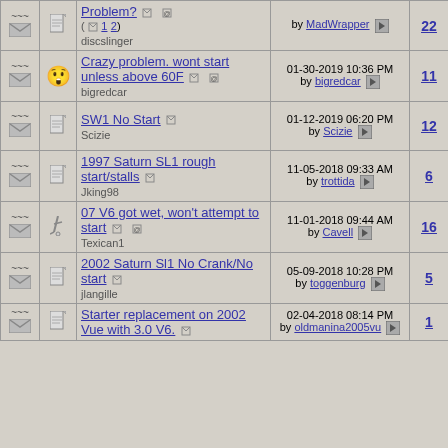|  |  | Topic | Last Post | Replies | Views | Forum |
| --- | --- | --- | --- | --- | --- | --- |
| [mail][doc] |  | Problem? (1 2) discslinger | by MadWrapper [go] | 22 | 9,696 | S-Series Tech |
| [mail][smiley] |  | Crazy problem. wont start unless above 60F bigredcar | 01-30-2019 10:36 PM by bigredcar [go] | 11 | 2,336 | Ion Tech |
| [mail][doc] |  | SW1 No Start Scizie | 01-12-2019 06:20 PM by Scizie [go] | 12 | 1,361 | S-Series Tech |
| [mail][doc] |  | 1997 Saturn SL1 rough start/stalls Jking98 | 11-05-2018 09:33 AM by trottida [go] | 6 | 1,442 | S-Series Genera |
| [mail][pencil] |  | 07 V6 got wet, won't attempt to start Texican1 | 11-01-2018 09:44 AM by Cavell [go] | 16 | 3,161 | Vue Tech |
| [mail][doc] |  | 2002 Saturn Sl1 No Crank/No start jlangille | 05-09-2018 10:28 PM by toggenburg [go] | 5 | 2,730 | S-Series Tech |
| [mail][doc] |  | Starter replacement on 2002 Vue with 3.0 V6. | 02-04-2018 08:14 PM by oldmanina2005vu [go] | 1 | 3,795 | Vue Genera |